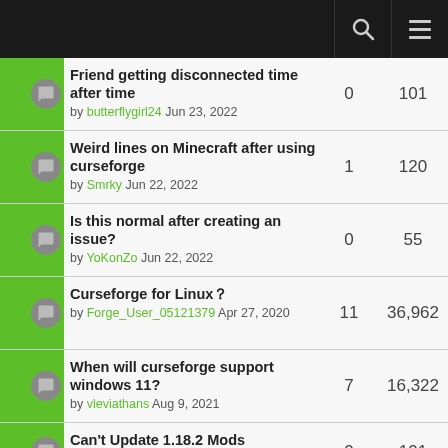Friend getting disconnected time after time by butterflygirl24 Jun 23, 2022 — 0 replies, 101 views
Weird lines on Minecraft after using curseforge by Smrky Jun 22, 2022 — 1 reply, 120 views
Is this normal after creating an issue? by YoKonZo Jun 22, 2022 — 0 replies, 55 views
Curseforge for Linux? by Forge_User_05121379 Apr 27, 2020 — 11 replies, 36,962 views
When will curseforge support windows 11? by vleviathans Aug 9, 2021 — 7 replies, 16,322 views
Can't Update 1.18.2 Mods — 0 replies, 101 views